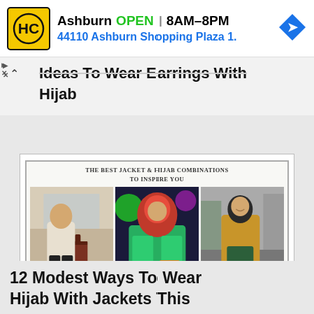[Figure (other): Advertisement banner: HC logo (black H and C on yellow background), text 'Ashburn OPEN | 8AM-8PM' and '44110 Ashburn Shopping Plaza 1.' with blue navigation arrow icon. Small play and X icons on left side.]
Ideas To Wear Earrings With Hijab
[Figure (photo): Composite fashion image with title 'The Best Jacket & Hijab Combinations To Inspire You' and three photos of women wearing hijab with jackets: woman with luggage in white jacket, woman in red hijab and green jacket, woman in camel coat with green dress. Footer text: www.outfittrends.com]
12 Modest Ways To Wear Hijab With Jackets This